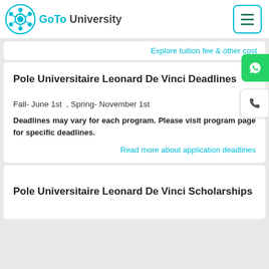GoTo University
Explore tuition fee & other cost
Pole Universitaire Leonard De Vinci Deadlines
Fall- June 1st  ,  Spring- November 1st
Deadlines may vary for each program. Please visit program page for specific deadlines.
Read more about application deadlines
Pole Universitaire Leonard De Vinci Scholarships